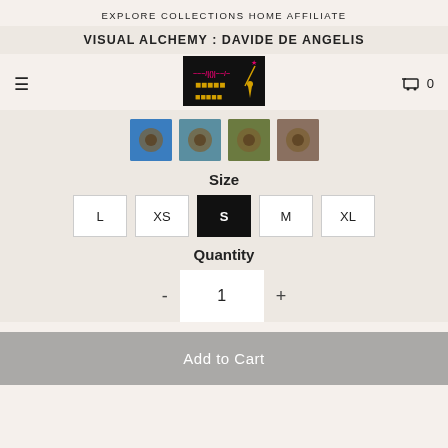EXPLORE COLLECTIONS   HOME   AFFILIATE
VISUAL ALCHEMY : DAVIDE DE ANGELIS
[Figure (logo): Dark background logo with neon pink graffiti text and a gold/yellow silhouette figure pointing to a pink star]
[Figure (photo): Four product color swatches: blue, teal, olive, brown]
Size
L  XS  S (selected)  M  XL
Quantity
- 1 +
Add to Cart